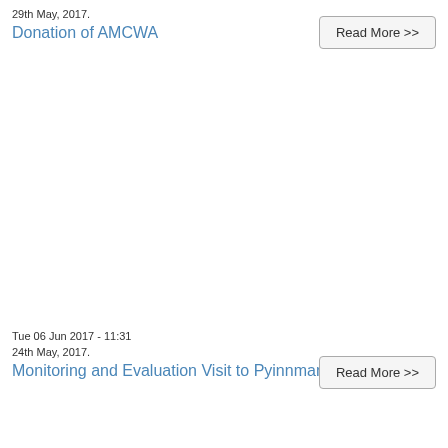29th May, 2017.
Donation of AMCWA
Read More >>
Tue 06 Jun 2017 - 11:31
24th May, 2017.
Monitoring and Evaluation Visit to Pyinnmana
Read More >>